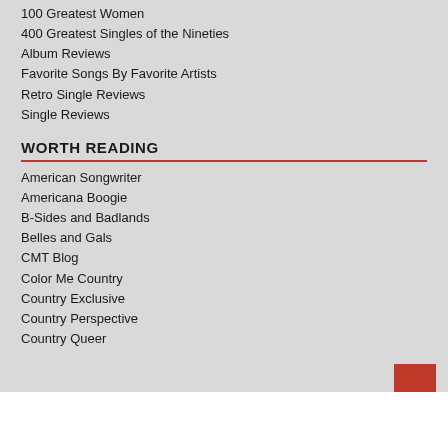100 Greatest Women
400 Greatest Singles of the Nineties
Album Reviews
Favorite Songs By Favorite Artists
Retro Single Reviews
Single Reviews
WORTH READING
American Songwriter
Americana Boogie
B-Sides and Badlands
Belles and Gals
CMT Blog
Color Me Country
Country Exclusive
Country Perspective
Country Queer